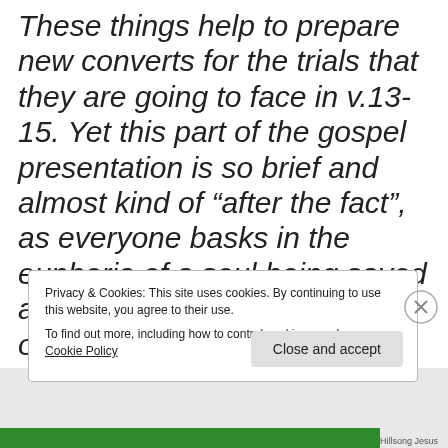These things help to prepare new converts for the trials that they are going to face in v.13-15. Yet this part of the gospel presentation is so brief and almost kind of “after the fact”, as everyone basks in the euphoria of a soul being saved already. And if you are saved once,
Privacy & Cookies: This site uses cookies. By continuing to use this website, you agree to their use. To find out more, including how to control cookies, see here: Cookie Policy
Close and accept